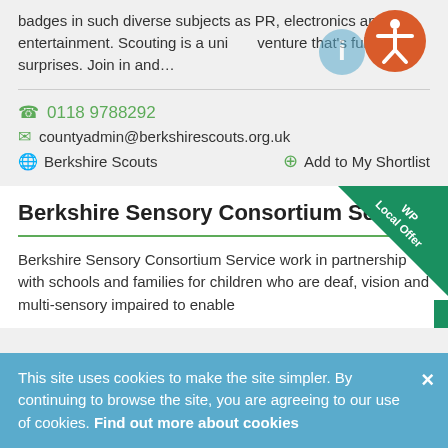badges in such diverse subjects as PR, electronics and entertainment. Scouting is a unique adventure that's full of surprises. Join in and…
0118 9788292
countyadmin@berkshirescouts.org.uk
Berkshire Scouts   Add to My Shortlist
Berkshire Sensory Consortium Service
Berkshire Sensory Consortium Service work in partnership with schools and families for children who are deaf, vision and multi-sensory impaired to enable
This site uses cookies to make the site simpler. By continuing to browse the site, you are agreeing to our use of cookies. Find out more about cookies